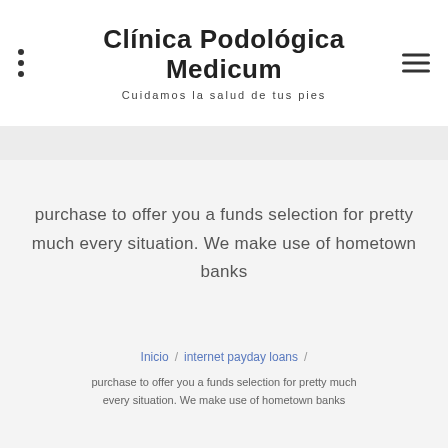Clínica Podológica Medicum
Cuidamos la salud de tus pies
purchase to offer you a funds selection for pretty much every situation. We make use of hometown banks
Inicio / internet payday loans / purchase to offer you a funds selection for pretty much every situation. We make use of hometown banks